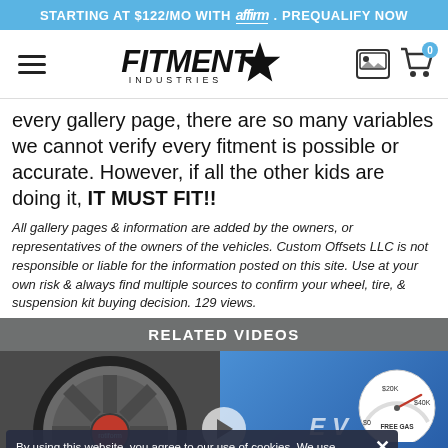STARTING AT $122/MO WITH affirm. PREQUALIFY NOW
[Figure (logo): Fitment Industries logo with hamburger menu, gallery icon, and cart icon with 0 badge]
every gallery page, there are so many variables we cannot verify every fitment is possible or accurate. However, if all the other kids are doing it, IT MUST FIT!!
All gallery pages & information are added by the owners, or representatives of the owners of the vehicles. Custom Offsets LLC is not responsible or liable for the information posted on this site. Use at your own risk & always find multiple sources to confirm your wheel, tire, & suspension kit buying decision. 129 views.
RELATED VIDEOS
[Figure (screenshot): Related video thumbnail showing a Rotiform OZR wheel on the left, blue gradient background on the right with Rotiform branding and a gauge showing $0, $20K, $40K labeled FREE GAS, play button in center, cookie consent banner overlaid at bottom]